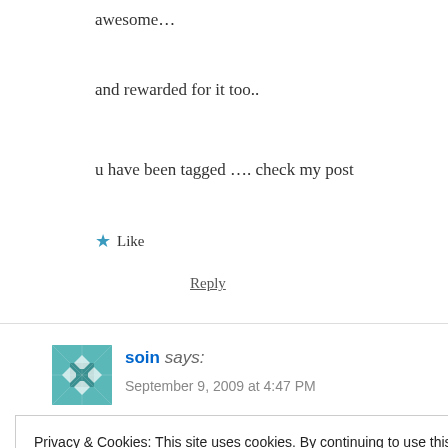awesome…
and rewarded for it too..
u have been tagged …. check my post
★ Like
Reply
soin says:
September 9, 2009 at 4:47 PM
Privacy & Cookies: This site uses cookies. By continuing to use this website, you agree to their use.
To find out more, including how to control cookies, see here: Cookie Policy
Close and accept